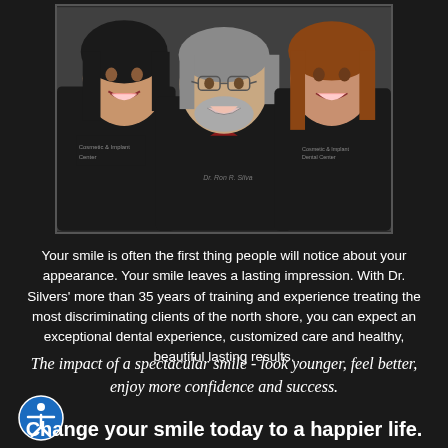[Figure (photo): Three dental staff members in black jackets smiling together. A woman on the left with dark hair, a man in the center with gray hair and beard wearing glasses and a red shirt under black jacket, and a woman on the right with reddish-brown hair. The jackets have dental center branding text.]
Your smile is often the first thing people will notice about your appearance. Your smile leaves a lasting impression. With Dr. Silvers' more than 35 years of training and experience treating the most discriminating clients of the north shore, you can expect an exceptional dental experience, customized care and healthy, beautiful lasting results.
The impact of a spectacular smile - look younger, feel better, enjoy more confidence and success.
Change your smile today to a happier life.